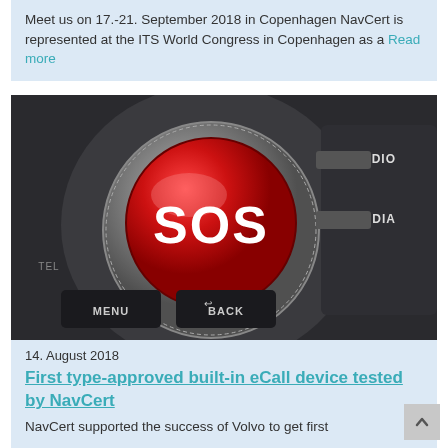Meet us on 17.-21. September 2018 in Copenhagen NavCert is represented at the ITS World Congress in Copenhagen as a Read more
[Figure (photo): Car dashboard SOS emergency button - a large red round button labeled SOS on a car infotainment control panel. Buttons for RADIO, MEDIA, MENU, and BACK are visible.]
14. August 2018
First type-approved built-in eCall device tested by NavCert
NavCert supported the success of Volvo to get first